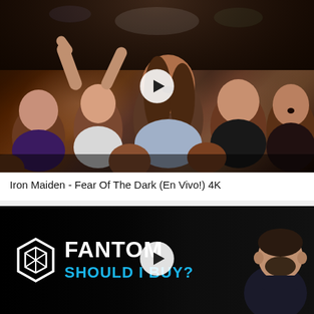[Figure (photo): Video thumbnail showing a concert crowd with excited fans at an Iron Maiden concert, with a white circular play button overlay in the center. Dark atmospheric lighting with crowd in foreground.]
Iron Maiden - Fear Of The Dark (En Vivo!) 4K
[Figure (screenshot): Video thumbnail for a Fantom cryptocurrency review. Black background with Fantom logo (geometric hexagon icon) and 'FANTOM' text in white, 'SHOULD I BUY?' text in blue below. A man's photo is visible on the right side. White circular play button overlay in the center.]